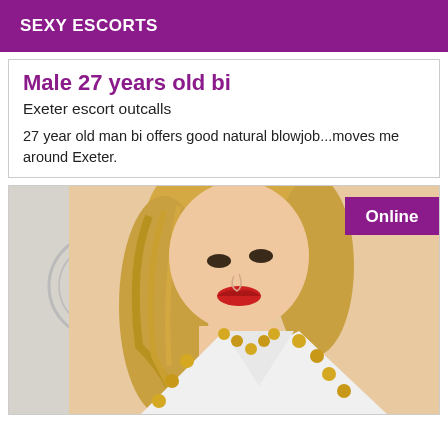SEXY ESCORTS
Male 27 years old bi
Exeter escort outcalls
27 year old man bi offers good natural blowjob...moves me around Exeter.
[Figure (photo): Blonde woman wearing a white jewelled top, photographed from the chest up, with an 'Online' badge in the top right corner]